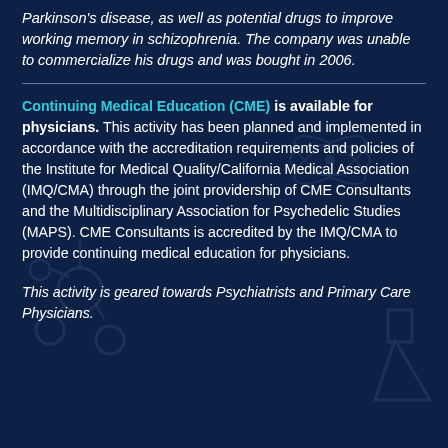Parkinson's disease, as well as potential drugs to improve working memory in schizophrenia. The company was unable to commercialize his drugs and was bought in 2006.
Continuing Medical Education (CME) is available for physicians. This activity has been planned and implemented in accordance with the accreditation requirements and policies of the Institute for Medical Quality/California Medical Association (IMQ/CMA) through the joint providership of CME Consultants and the Multidisciplinary Association for Psychedelic Studies (MAPS). CME Consultants is accredited by the IMQ/CMA to provide continuing medical education for physicians.
This activity is geared towards Psychiatrists and Primary Care Physicians.